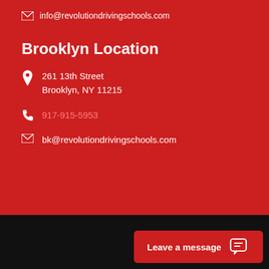info@revolutiondrivingschools.com
Brooklyn Location
261 13th Street
Brooklyn, NY 11215
917-915-5953
bk@revolutiondrivingschools.com
Leave a message